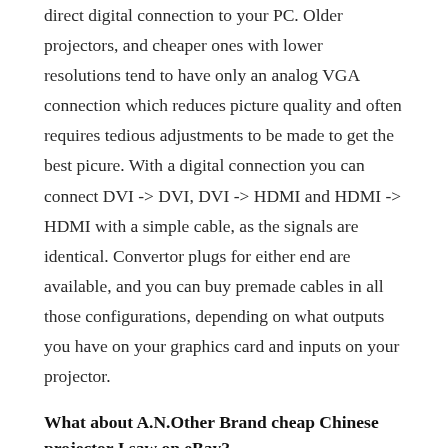direct digital connection to your PC. Older projectors, and cheaper ones with lower resolutions tend to have only an analog VGA connection which reduces picture quality and often requires tedious adjustments to be made to get the best picure. With a digital connection you can connect DVI -> DVI, DVI -> HDMI and HDMI -> HDMI with a simple cable, as the signals are identical. Convertor plugs for either end are available, and you can buy premade cables in all those configurations, depending on what outputs you have on your graphics card and inputs on your projector.
What about A.N.Other Brand cheap Chinese projector I saw on eBay?
There is a rash of unrealistically cheap projectors on the market, often coming directly from China – which is not to say that they make inferior goods in China, just that these